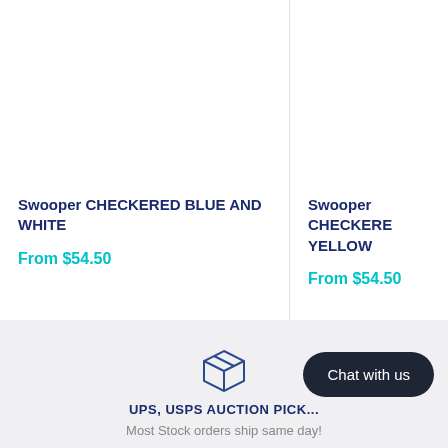Swooper CHECKERED BLUE AND WHITE
From $54.50
Swooper CHECKERED BLUE AND YELLOW
From $54.50
[Figure (illustration): Box/package icon outline in dark blue]
UPS, USPS AUCTION PICK...
Most Stock orders ship same day!
Chat with us